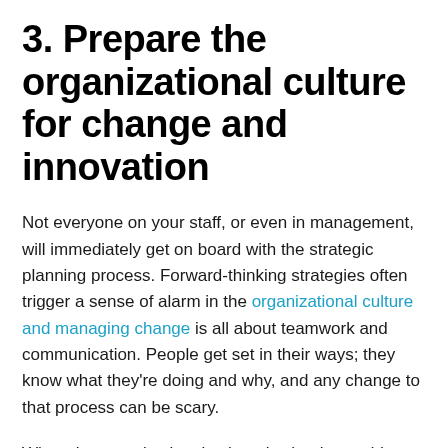3. Prepare the organizational culture for change and innovation
Not everyone on your staff, or even in management, will immediately get on board with the strategic planning process. Forward-thinking strategies often trigger a sense of alarm in the organizational culture and managing change is all about teamwork and communication. People get set in their ways; they know what they're doing and why, and any change to that process can be scary.
When the organizational culture is clearly at odds with the strategic goals of your company, no amount of strategic planning will dig you out of that hole. If change is